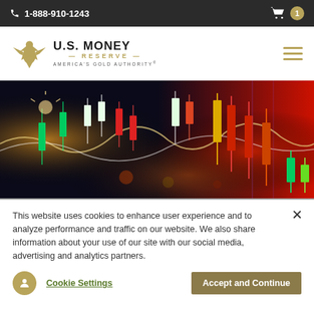1-888-910-1243
[Figure (logo): U.S. Money Reserve - America's Gold Authority logo with golden eagle]
[Figure (photo): Financial candlestick stock market chart with red and green candles on dark background with glowing lights]
This website uses cookies to enhance user experience and to analyze performance and traffic on our website. We also share information about your use of our site with our social media, advertising and analytics partners.
Cookie Settings
Accept and Continue